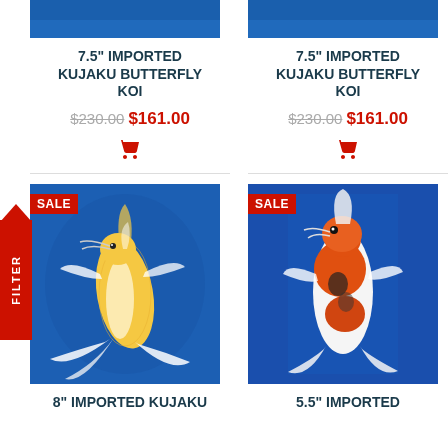[Figure (photo): Partial top view of koi fish in blue water, left product]
7.5" IMPORTED KUJAKU BUTTERFLY KOI
$230.00 $161.00
[Figure (photo): Partial top view of koi fish in blue water, right product]
7.5" IMPORTED KUJAKU BUTTERFLY KOI
$230.00 $161.00
[Figure (photo): Yellow/white butterfly koi fish on blue background with SALE badge]
[Figure (photo): Orange/white/black koi fish on blue background with SALE badge]
8" IMPORTED KUJAKU
5.5" IMPORTED